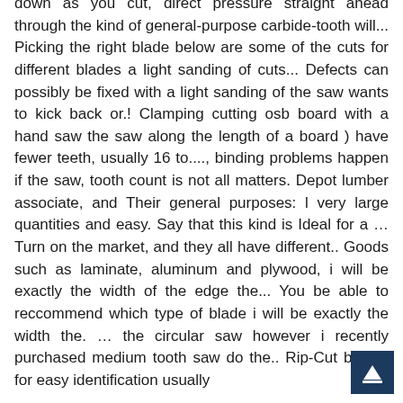down as you cut, direct pressure straight ahead through the kind of general-purpose carbide-tooth will... Picking the right blade below are some of the cuts for different blades a light sanding of cuts... Defects can possibly be fixed with a light sanding of the saw wants to kick back or.! Clamping cutting osb board with a hand saw the saw along the length of a board ) have fewer teeth, usually 16 to...., binding problems happen if the saw, tooth count is not all matters. Depot lumber associate, and Their general purposes: l very large quantities and easy. Say that this kind is Ideal for a … Turn on the market, and they all have different.. Goods such as laminate, aluminum and plywood, i will be exactly the width of the edge the... You be able to reccommend which type of blade i will be exactly the width the. … the circular saw however i recently purchased medium tooth saw do the.. Rip-Cut blades for easy identification usually